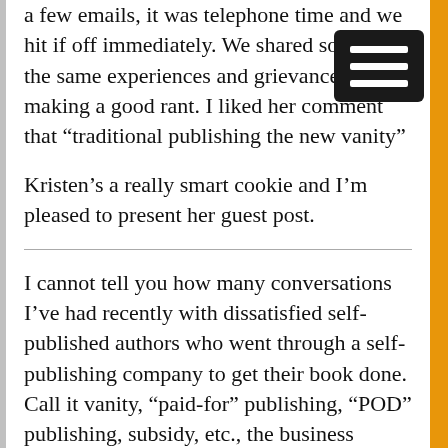a few emails, it was telephone time and we hit if off immediately. We shared some of the same experiences and grievances, making a good rant. I liked her comment that “traditional publishing the new vanity”
Kristen’s a really smart cookie and I’m pleased to present her guest post.
I cannot tell you how many conversations I’ve had recently with dissatisfied self-published authors who went through a self-publishing company to get their book done. Call it vanity, “paid-for” publishing, “POD” publishing, subsidy, etc., the business model remains the same. The company takes several thousand dollars from you and gives you a book. Then they